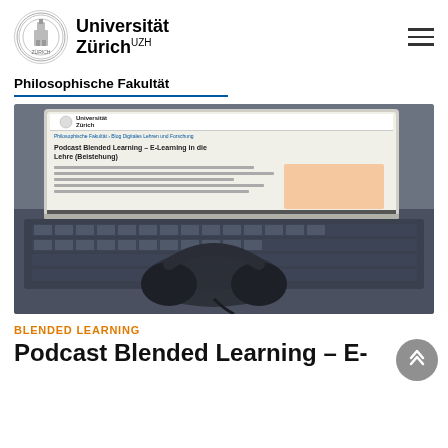Universität Zürich UZH
Philosophische Fakultät
[Figure (photo): A tablet displaying a Universität Zürich webpage about Podcast Blended Learning, placed on a keyboard with headphones in the foreground.]
BLENDED LEARNING
Podcast Blended Learning – E-